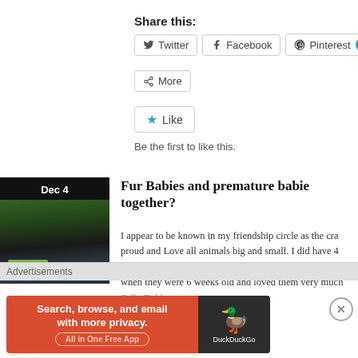Share this:
Twitter  Facebook  Pinterest 1  More
[Figure (screenshot): Like button widget]
Be the first to like this.
[Figure (photo): Thumbnail image dated Dec 4 showing animals]
Fur Babies and premature babies together?
I appear to be known in my friendship circle as the cra proud and Love all animals big and small. I did have 4 saw the unexpected death of one of my fur babies. I re when they were 6 weeks old and loved them very much
Advertisements
[Figure (screenshot): DuckDuckGo advertisement banner: Search, browse, and email with more privacy. All in One Free App.]